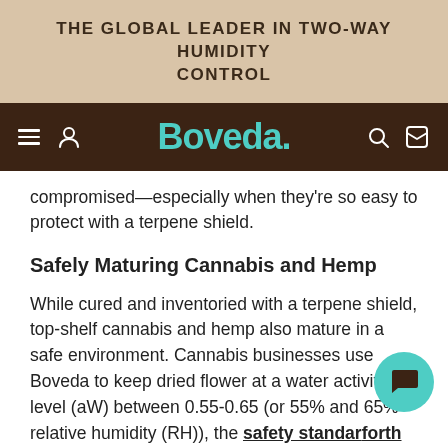THE GLOBAL LEADER IN TWO-WAY HUMIDITY CONTROL
[Figure (logo): Boveda brand navigation bar with hamburger menu, user icon, Boveda logo in teal, search icon, and cart icon on dark brown background]
compromised—especially when they're so easy to protect with a terpene shield.
Safely Maturing Cannabis and Hemp
While cured and inventoried with a terpene shield, top-shelf cannabis and hemp also mature in a safe environment. Cannabis businesses use Boveda to keep dried flower at a water activity level (aW) between 0.55-0.65 (or 55% and 65% relative humidity (RH)), the safety standard forth by ASTM. By staying within this range, Boveda 58 or 62% RH, processors can keep cannabis and hemp from over-drying and